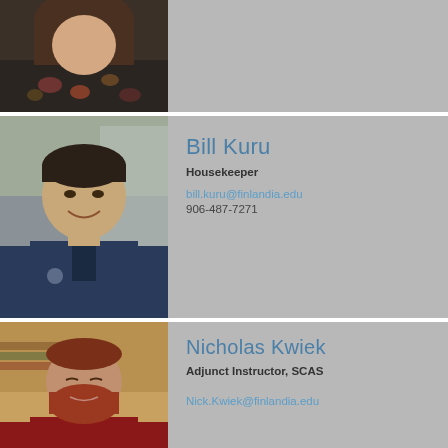[Figure (photo): Partial photo of a woman with dark hair wearing a floral top, cropped at shoulder level]
[Figure (photo): Photo of Bill Kuru, a man with dark hair wearing a navy blue zip-up jacket, smiling]
Bill Kuru
Housekeeper
bill.kuru@finlandia.edu
906-487-7271
[Figure (photo): Photo of Nicholas Kwiek, a man with a red beard wearing a red shirt, seated in what appears to be a library or classroom]
Nicholas Kwiek
Adjunct Instructor, SCAS
Nick.Kwiek@finlandia.edu